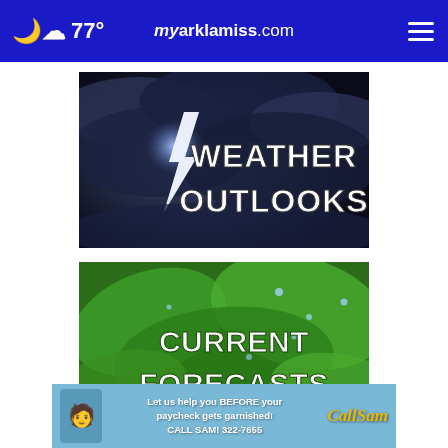77° myarklamiss.com
[Figure (photo): Dark stormy clouds with lightning bolt, overlaid with bold white text 'WEATHER OUTLOOKS']
[Figure (photo): Green wet leaves with water drops, overlaid with bold white text 'CURRENT FORECASTS']
[Figure (screenshot): Advertisement banner: 'Let us help you BEFORE your paycheck gets garnished! CALL SAM! 322-7655' with CallSam logo]